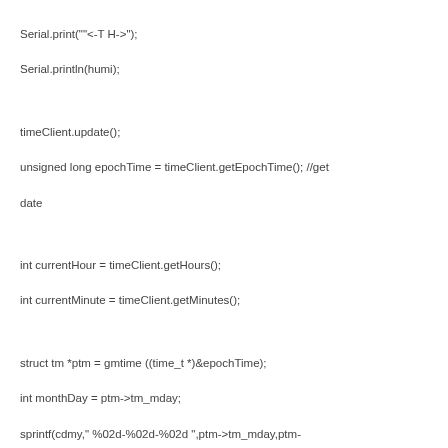Serial.print("<-T H->");
Serial.println(humi);

timeClient.update();
unsigned long epochTime = timeClient.getEpochTime(); //get date

int currentHour = timeClient.getHours();
int currentMinute = timeClient.getMinutes();

struct tm *ptm = gmtime ((time_t *)&epochTime);
int monthDay = ptm->tm_mday;
sprintf(cdmy," %02d-%02d-%02d ",ptm->tm_mday,ptm->tm_mon+1,ptm->tm_year+2443);

for (int i = 0; i < 2; i++) {
display.clear(); // clear the display
display.print(cdmy); // print right->left day month year
delay(100);
}
// print time hour min
//for (int i = 0; i < 2; i++) {
display.clear(); // clear the display